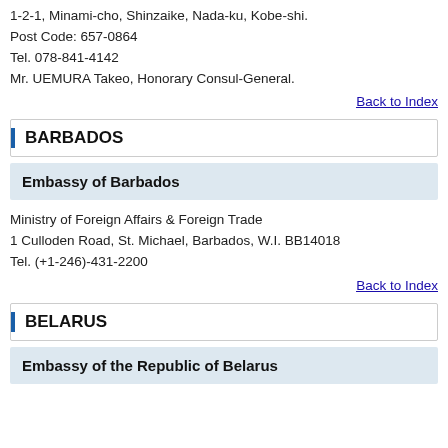1-2-1, Minami-cho, Shinzaike, Nada-ku, Kobe-shi.
Post Code: 657-0864
Tel. 078-841-4142
Mr. UEMURA Takeo, Honorary Consul-General.
Back to Index
BARBADOS
Embassy of Barbados
Ministry of Foreign Affairs & Foreign Trade
1 Culloden Road, St. Michael, Barbados, W.I. BB14018
Tel. (+1-246)-431-2200
Back to Index
BELARUS
Embassy of the Republic of Belarus